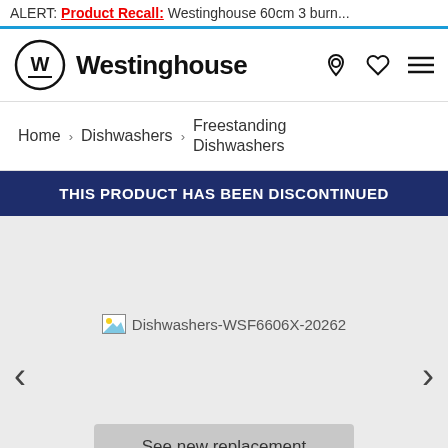ALERT: Product Recall: Westinghouse 60cm 3 burn...
[Figure (logo): Westinghouse logo with W in a circle and brand name text]
Home > Dishwashers > Freestanding Dishwashers
THIS PRODUCT HAS BEEN DISCONTINUED
[Figure (photo): Placeholder image for Dishwashers-WSF6606X-20262 product photo with carousel navigation arrows]
See new replacement